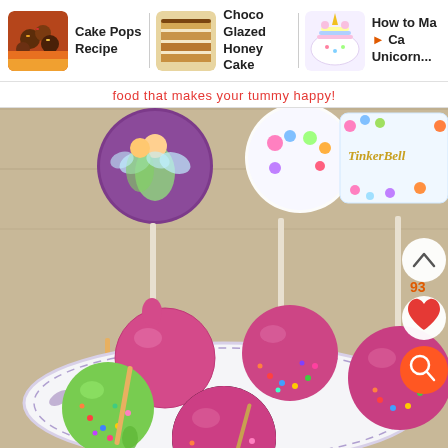[Figure (screenshot): Website navigation bar showing three recipe cards: 'Cake Pops Recipe', 'Choco Glazed Honey Cake', and 'How to Make Unicorn Cake Unicorn...' with thumbnail images]
food that makes your tummy happy!
[Figure (photo): Close-up photo of cake pops on a decorative plate. Pink chocolate-coated cake pops with colorful sprinkles, one green-coated, decorated with Tinker Bell themed toppers on white sticks. Tinker Bell themed printable decorations visible at top.]